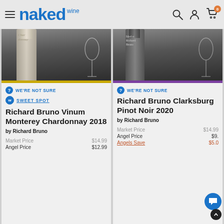naked wines
[Figure (photo): Chardonnay wine bottle with glass, dark background, gold accent bar at bottom]
WE'RE NOT SURE
SWEET SPOT
Richard Bruno Vinum Monterey Chardonnay 2018
by Richard Bruno
Market Price $14.99
Angel Price $12.99
[Figure (photo): Merlot wine bottle with glass on wooden table, dark background, purple accent bar at bottom]
WE'RE NOT SURE
Richard Bruno Clarksburg Pinot Noir 2020
by Richard Bruno
Market Price $14.99
Angel Price $9.
Angels Save $5.0